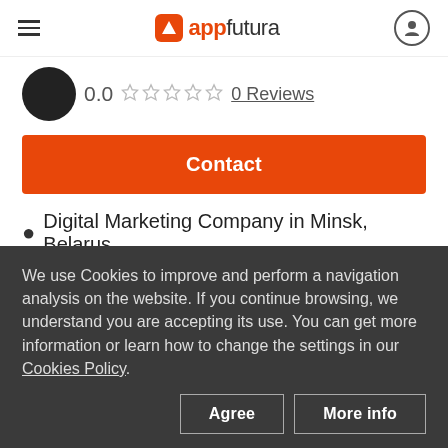appfutura
0.0 ☆☆☆☆☆ 0 Reviews
Contact
Digital Marketing Company in Minsk, Belarus
Aligned Code helps you open up solid user acquisition channels while positively impact
We use Cookies to improve and perform a navigation analysis on the website. If you continue browsing, we understand you are accepting its use. You can get more information or learn how to change the settings in our Cookies Policy.
Agree
More info